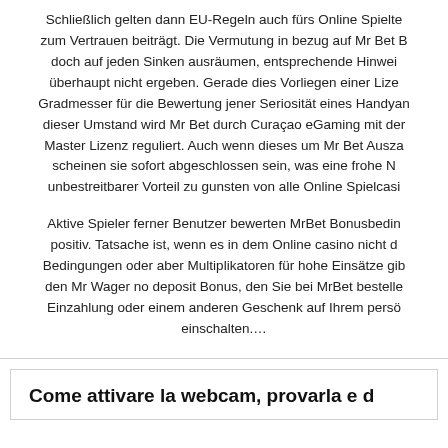Schließlich gelten dann EU-Regeln auch fürs Online Spielten zum Vertrauen beiträgt. Die Vermutung in bezug auf Mr Bet B doch auf jeden Sinken ausräumen, entsprechende Hinwei überhaupt nicht ergeben. Gerade dies Vorliegen einer Lize Gradmesser für die Bewertung jener Seriosität eines Handyan dieser Umstand wird Mr Bet durch Curaçao eGaming mit der Master Lizenz reguliert. Auch wenn dieses um Mr Bet Ausza scheinen sie sofort abgeschlossen sein, was eine frohe N unbestreitbarer Vorteil zu gunsten von alle Online Spielcasi
Aktive Spieler ferner Benutzer bewerten MrBet Bonusbedin positiv. Tatsache ist, wenn es in dem Online casino nicht d Bedingungen oder aber Multiplikatoren für hohe Einsätze gib den Mr Wager no deposit Bonus, den Sie bei MrBet bestelle Einzahlung oder einem anderen Geschenk auf Ihrem persö einschalten.…
Come attivare la webcam, provarla e d